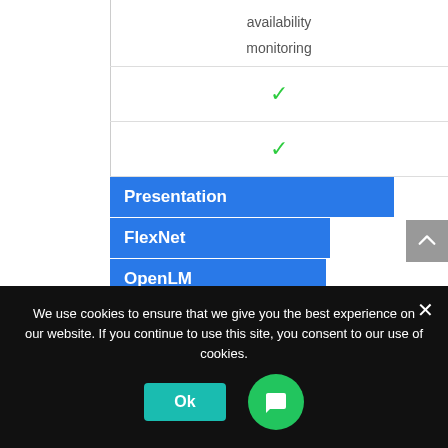| Feature | Presentation | FlexNet | OpenLM |
| --- | --- | --- | --- |
| availability monitoring | ✓ | ✓ |  |
|  | ✓ |  |  |
| Presentation / FlexNet / OpenLM |  |  |  |
| User friendly |  |  |  |
| web-based |  |  |  |
We use cookies to ensure that we give you the best experience on our website. If you continue to use this site, you consent to our use of cookies.